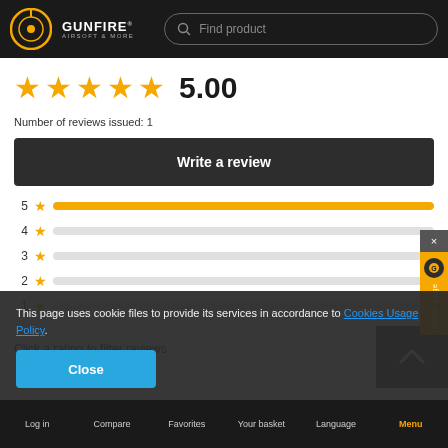GUNFIRE AIRSOFT & MORE — Find product
[Figure (other): Five gold stars rating display with score 5.00]
Number of reviews issued: 1
Write a review
[Figure (bar-chart): Rating distribution]
Click a rating to filter reviews
This page uses cookie files to provide its services in accordance to Cookies Usage Policy.
Close
Log in   Compare   Favorites   Your basket   Language   Menu